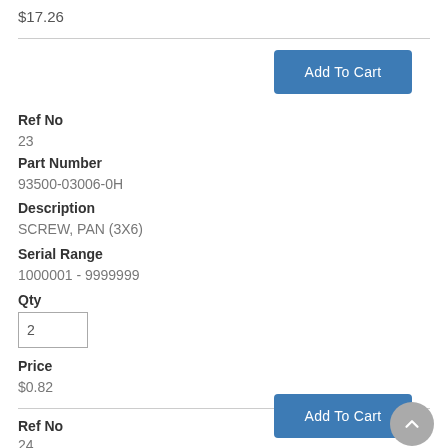$17.26
Add To Cart
Ref No
23
Part Number
93500-03006-0H
Description
SCREW, PAN (3X6)
Serial Range
1000001 - 9999999
Qty
2
Price
$0.82
Add To Cart
Ref No
24